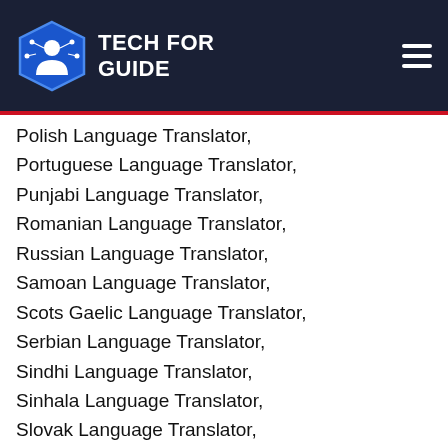TECH FOR GUIDE
Polish Language Translator,
Portuguese Language Translator,
Punjabi Language Translator,
Romanian Language Translator,
Russian Language Translator,
Samoan Language Translator,
Scots Gaelic Language Translator,
Serbian Language Translator,
Sindhi Language Translator,
Sinhala Language Translator,
Slovak Language Translator,
Slovenian Language Translator,
Somali Language Translator,
Spanish Language Translator,
Sundanese Language Translator,
Swahili Language Translator,